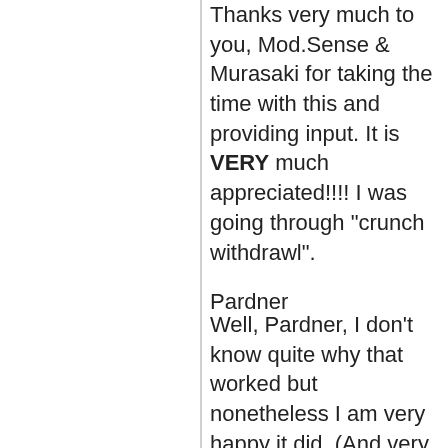Thanks very much to you, Mod.Sense & Murasaki for taking the time with this and providing input. It is VERY much appreciated!!!! I was going through "crunch withdrawl".
Pardner
Well, Pardner, I don't know quite why that worked but nonetheless I am very happy it did. (And very glad Mod.Sense quickly caught my omission of the